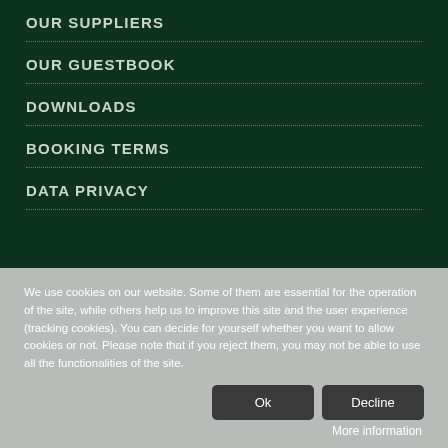OUR SUPPLIERS
OUR GUESTBOOK
DOWNLOADS
BOOKING TERMS
DATA PRIVACY
We use cookies on our website. Some of them are essential for the operation of the site, while others help us to improve this site and the user experience (tracking cookies). You can decide for yourself whether you want to allow cookies or not. Please note that if you reject them, you may not be able to use all the functionalities of the site.
Ok
Decline
More information